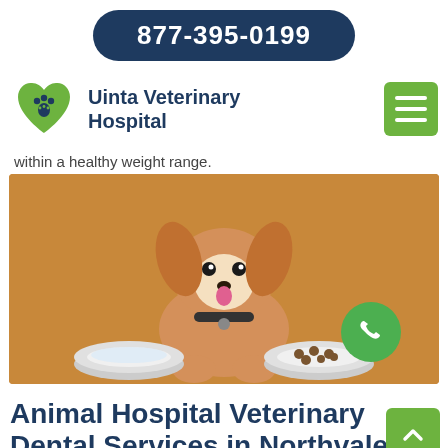877-395-0199
Uinta Veterinary Hospital
within a healthy weight range.
[Figure (photo): A Jack Russell Terrier dog sitting on a wooden floor, looking up, with tongue out, next to two food/water bowls. A green call button circle is overlaid on the image.]
Animal Hospital Veterinary Dental Services in Northvale